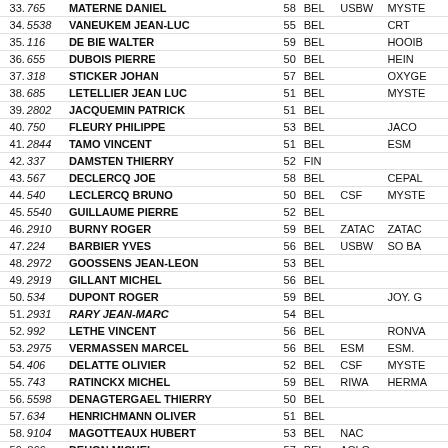| # | Bib | Name | Age | Nat | Club1 | Club2 |
| --- | --- | --- | --- | --- | --- | --- |
| 33. | 765 | MATERNE DANIEL | 58 | BEL | USBW | MYSTE |
| 34. | 5538 | VANEUKEM JEAN-LUC | 55 | BEL |  | CRT |
| 35. | 116 | DE BIE WALTER | 59 | BEL |  | HOOIB |
| 36. | 655 | DUBOIS PIERRE | 50 | BEL |  | HEIN |
| 37. | 318 | STICKER JOHAN | 57 | BEL |  | OXYGE |
| 38. | 685 | LETELLIER JEAN LUC | 51 | BEL |  | MYSTE |
| 39. | 2802 | JACQUEMIN PATRICK | 51 | BEL |  |  |
| 40. | 750 | FLEURY PHILIPPE | 53 | BEL |  | JACO |
| 41. | 2844 | TAMO VINCENT | 51 | BEL |  | ESM |
| 42. | 337 | DAMSTEN THIERRY | 52 | FIN |  |  |
| 43. | 567 | DECLERCQ JOE | 58 | BEL |  | CEPAL |
| 44. | 540 | LECLERCQ BRUNO | 50 | BEL | CSF | MYSTE |
| 45. | 5540 | GUILLAUME PIERRE | 52 | BEL |  |  |
| 46. | 2910 | BURNY ROGER | 59 | BEL | ZATAC | ZATAC |
| 47. | 224 | BARBIER YVES | 56 | BEL | USBW | SO BA |
| 48. | 2972 | GOOSSENS JEAN-LEON | 53 | BEL |  |  |
| 49. | 2919 | GILLANT MICHEL | 56 | BEL |  |  |
| 50. | 534 | DUPONT ROGER | 59 | BEL |  | JOY. G |
| 51. | 2931 | RARY JEAN-MARC | 54 | BEL |  |  |
| 52. | 992 | LETHE VINCENT | 56 | BEL |  | RONVA |
| 53. | 2975 | VERMASSEN MARCEL | 56 | BEL | ESM | ESM. |
| 54. | 406 | DELATTE OLIVIER | 52 | BEL | CSF | MYSTE |
| 55. | 743 | RATINCKX MICHEL | 59 | BEL | RIWA | HERMA |
| 56. | 5598 | DENAGTERGAEL THIERRY | 50 | BEL |  |  |
| 57. | 634 | HENRICHMANN OLIVER | 51 | BEL |  |  |
| 58. | 9104 | MAGOTTEAUX HUBERT | 53 | BEL | NAC |  |
| 59. | 866 | DEHON MICHEL | 57 | BEL | ACLO |  |
| 60. | 5509 | D'ANGELI GIANI | 58 | BEL | CPMV |  |
| 61. | 210 | GILAIN PHILIPPE | 58 | BEL |  | RCNAN |
| 62. | 2823 | ACCARAIN PASCAL | 56 | BEL | CEPAL | CEPAL |